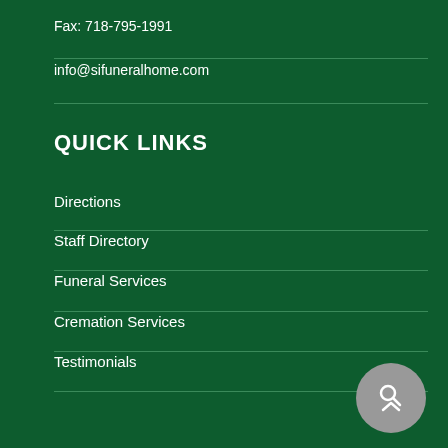Fax: 718-795-1991
info@sifuneralhome.com
QUICK LINKS
Directions
Staff Directory
Funeral Services
Cremation Services
Testimonials
[Figure (other): Search bar with placeholder text 'SEARCH THIS WEBSITE' and a circular grey search/scroll button on the right]